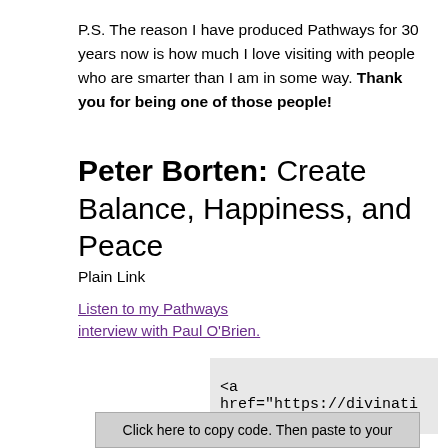P.S. The reason I have produced Pathways for 30 years now is how much I love visiting with people who are smarter than I am in some way. Thank you for being one of those people!
Peter Borten: Create Balance, Happiness, and Peace
Plain Link
Listen to my Pathways interview with Paul O'Brien.
<a href="https://divinati
Click here to copy code. Then paste to your